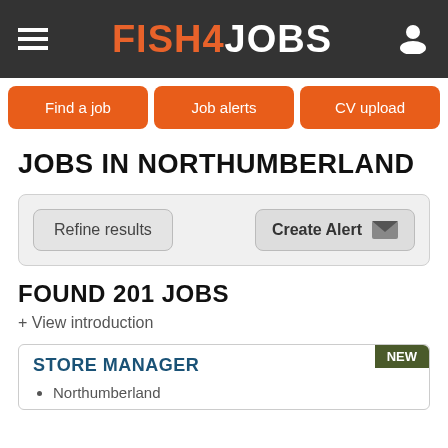FISH4JOBS
Find a job
Job alerts
CV upload
JOBS IN NORTHUMBERLAND
Refine results
Create Alert
FOUND 201 JOBS
+ View introduction
STORE MANAGER
Northumberland